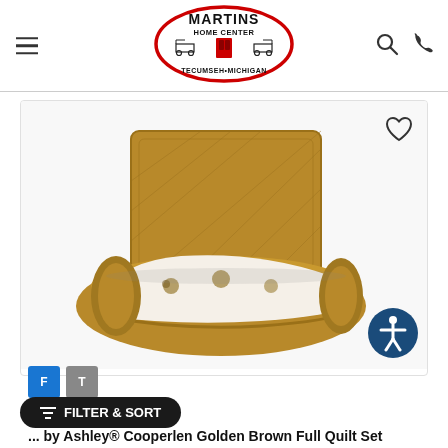[Figure (logo): Martins Home Center logo — oval red border with text MARTINS HOME CENTER, TECUMSEH•MICHIGAN, and a furniture/barn image in the center]
[Figure (photo): Golden brown quilted pillow sham standing upright with a folded golden brown quilt in front showing a reverse side with animal/bear print pattern on white background]
... by Ashley® Cooperlen Golden Brown Full Quilt Set